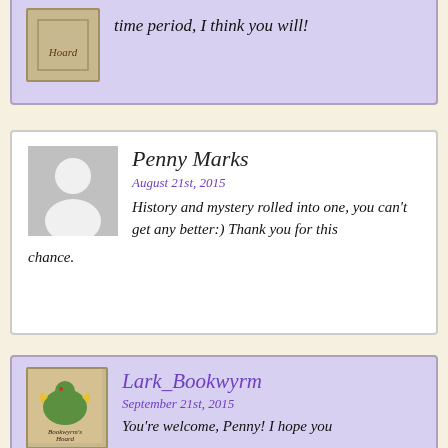time period, I think you will!
Penny Marks
August 21st, 2015
History and mystery rolled into one, you can't get any better:) Thank you for this chance.
Lark_Bookwyrm
September 21st, 2015
You're welcome, Penny! I hope you